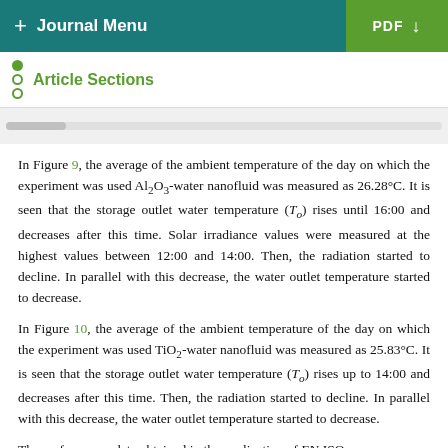+ Journal Menu   PDF ↓
Article Sections
In Figure 9, the average of the ambient temperature of the day on which the experiment was used Al₂O₃-water nanofluid was measured as 26.28°C. It is seen that the storage outlet water temperature (T_o) rises until 16:00 and decreases after this time. Solar irradiance values were measured at the highest values between 12:00 and 14:00. Then, the radiation started to decline. In parallel with this decrease, the water outlet temperature started to decrease.
In Figure 10, the average of the ambient temperature of the day on which the experiment was used TiO₂-water nanofluid was measured as 25.83°C. It is seen that the storage outlet water temperature (T_o) rises up to 14:00 and decreases after this time. Then, the radiation started to decline. In parallel with this decrease, the water outlet temperature started to decrease.
The performance data obtained in the application of EN ISO